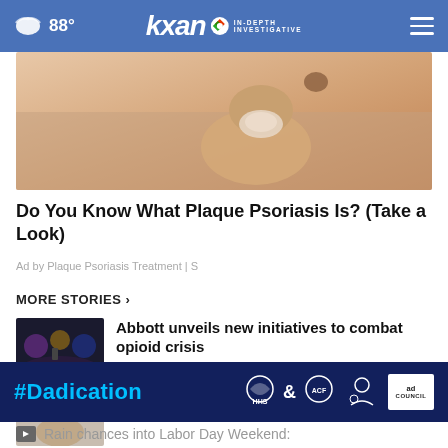☁ 88° | KXAN IN-DEPTH INVESTIGATIVE
[Figure (photo): Close-up photo of skin with a finger pressing on what appears to be a skin condition (plaque psoriasis advertisement image)]
Do You Know What Plaque Psoriasis Is? (Take a Look)
Ad by Plaque Psoriasis Treatment | S
MORE STORIES ›
[Figure (photo): Thumbnail image of a stage event with audience silhouettes in dark setting with colored stage lights]
Abbott unveils new initiatives to combat opioid crisis
[Figure (photo): Thumbnail portrait of an elderly woman]
APD needs help to find missing 5-
[Figure (infographic): #Dadication advertisement banner with HHS ACF and Ad Council logos on dark blue background]
Rain chances into Labor Day Weekend: